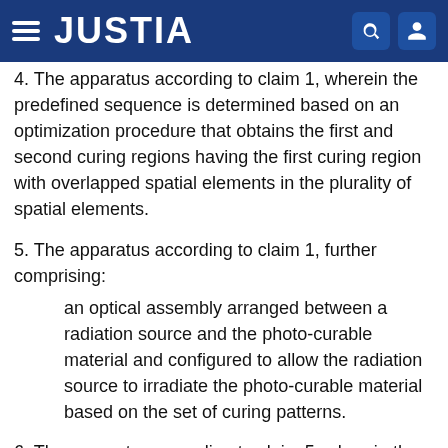JUSTIA
4. The apparatus according to claim 1, wherein the predefined sequence is determined based on an optimization procedure that obtains the first and second curing regions having the first curing region with overlapped spatial elements in the plurality of spatial elements.
5. The apparatus according to claim 1, further comprising:
an optical assembly arranged between a radiation source and the photo-curable material and configured to allow the radiation source to irradiate the photo-curable material based on the set of curing patterns.
6. The apparatus according to claim 5, wherein the optical assembly has a magnification factor such that